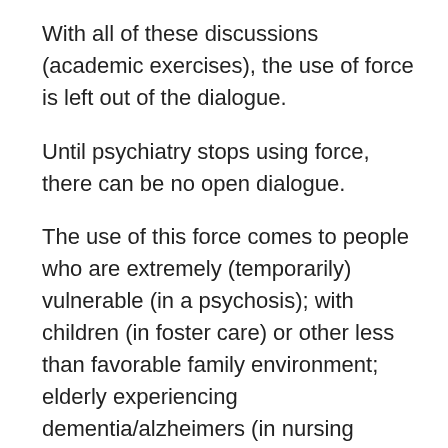With all of these discussions (academic exercises), the use of force is left out of the dialogue.
Until psychiatry stops using force, there can be no open dialogue.
The use of this force comes to people who are extremely (temporarily) vulnerable (in a psychosis); with children (in foster care) or other less than favorable family environment; elderly experiencing dementia/alzheimers (in nursing homes).
It seems to me that we can go on-and-on about how your profession needs to learn from ex-patients/survivors; encourage peer support;